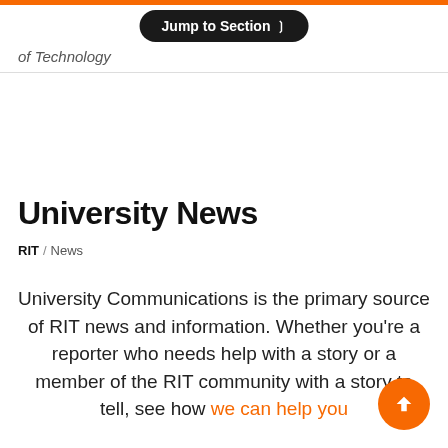Jump to Section
of Technology
University News
RIT / News
University Communications is the primary source of RIT news and information. Whether you're a reporter who needs help with a story or a member of the RIT community with a story to tell, see how we can help you